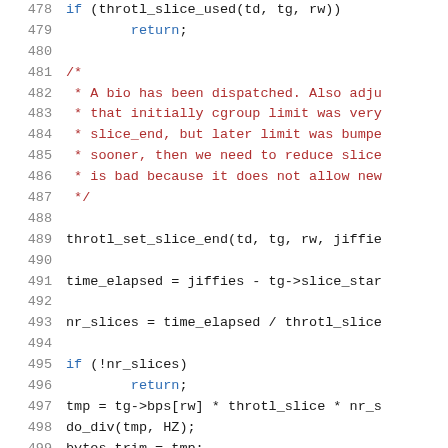Source code listing, lines 478-499, C kernel code with line numbers, showing throttle slice logic
478: if (throtl_slice_used(td, tg, rw))
479:         return;
480: (empty)
481: /*
482:  * A bio has been dispatched. Also adju
483:  * that initially cgroup limit was very
484:  * slice_end, but later limit was bumpe
485:  * sooner, then we need to reduce slice
486:  * is bad because it does not allow new
487:  */
488: (empty)
489: throtl_set_slice_end(td, tg, rw, jiffie
490: (empty)
491: time_elapsed = jiffies - tg->slice_star
492: (empty)
493: nr_slices = time_elapsed / throtl_slice
494: (empty)
495: if (!nr_slices)
496:         return;
497: tmp = tg->bps[rw] * throtl_slice * nr_s
498: do_div(tmp, HZ);
499: bytes_trim = tmp;